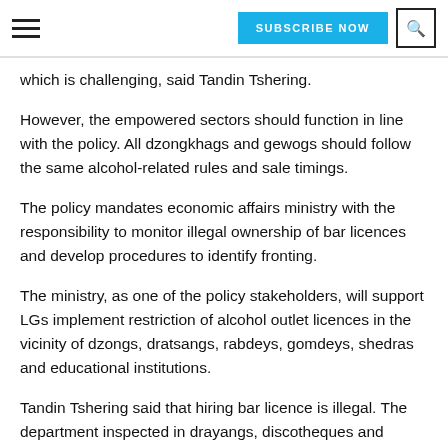SUBSCRIBE NOW
which is challenging, said Tandin Tshering.
However, the empowered sectors should function in line with the policy. All dzongkhags and gewogs should follow the same alcohol-related rules and sale timings.
The policy mandates economic affairs ministry with the responsibility to monitor illegal ownership of bar licences and develop procedures to identify fronting.
The ministry, as one of the policy stakeholders, will support LGs implement restriction of alcohol outlet licences in the vicinity of dzongs, dratsangs, rabdeys, gomdeys, shedras and educational institutions.
Tandin Tshering said that hiring bar licence is illegal. The department inspected in drayangs, discotheques and karaokes to find out if they are operating on hired licence.